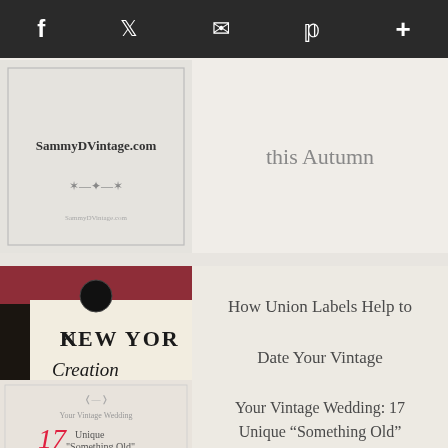f  ♥  ✉  p  +
[Figure (photo): SammyDVintage.com logo/thumbnail with decorative border and ornamental divider]
this Autumn
[Figure (photo): Vintage clothing label reading 'NEW YORK Creation' with union label text]
How Union Labels Help to Date Your Vintage Clothing
[Figure (photo): Your Vintage Wedding: 17 Unique 'Something Old' thumbnail image]
Your Vintage Wedding: 17 Unique “Something Old”